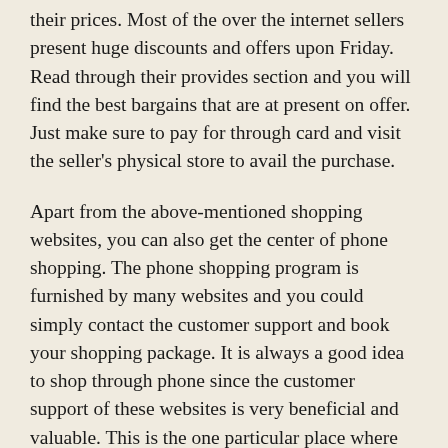their prices. Most of the over the internet sellers present huge discounts and offers upon Friday. Read through their provides section and you will find the best bargains that are at present on offer. Just make sure to pay for through card and visit the seller's physical store to avail the purchase.
Apart from the above-mentioned shopping websites, you can also get the center of phone shopping. The phone shopping program is furnished by many websites and you could simply contact the customer support and book your shopping package. It is always a good idea to shop through phone since the customer support of these websites is very beneficial and valuable. This is the one particular place where you can clarify all of your doubts about the product and the company. So , Friday is usually one place when you can absolutely enjoy great deals on Cyber monday shopping.